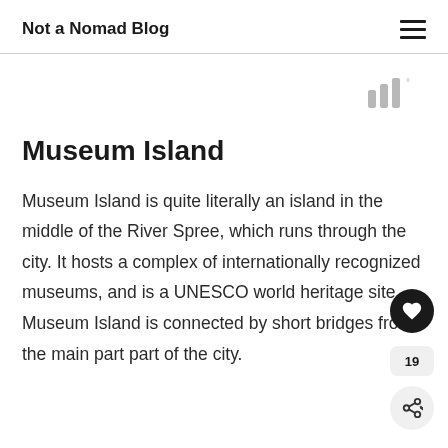Not a Nomad Blog
[Figure (other): Weather widget showing signal/bar icon with degree symbol]
Museum Island
Museum Island is quite literally an island in the middle of the River Spree, which runs through the city. It hosts a complex of internationally recognized museums, and is a UNESCO world heritage site. Museum Island is connected by short bridges from the main part part of the city.